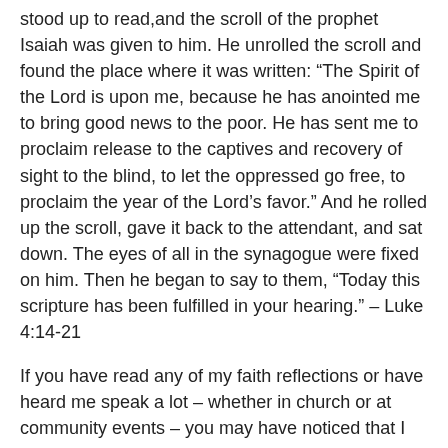stood up to read,and the scroll of the prophet Isaiah was given to him. He unrolled the scroll and found the place where it was written: “The Spirit of the Lord is upon me, because he has anointed me to bring good news to the poor. He has sent me to proclaim release to the captives and recovery of sight to the blind, to let the oppressed go free, to proclaim the year of the Lord’s favor.” And he rolled up the scroll, gave it back to the attendant, and sat down. The eyes of all in the synagogue were fixed on him. Then he began to say to them, “Today this scripture has been fulfilled in your hearing.” – Luke 4:14-21
If you have read any of my faith reflections or have heard me speak a lot – whether in church or at community events – you may have noticed that I love our passage from today’s Gospel.